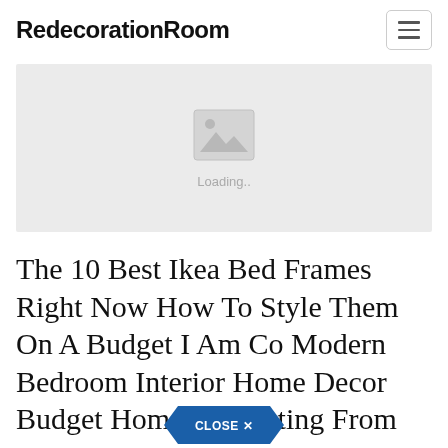RedecorationRoom
[Figure (other): Image placeholder with mountain/landscape icon and 'Loading..' text]
The 10 Best Ikea Bed Frames Right Now How To Style Them On A Budget I Am Co Modern Bedroom Interior Home Decor Budget Home Decorating From pinterest.com
[Figure (other): CLOSE X button in blue hexagon/arrow shape]